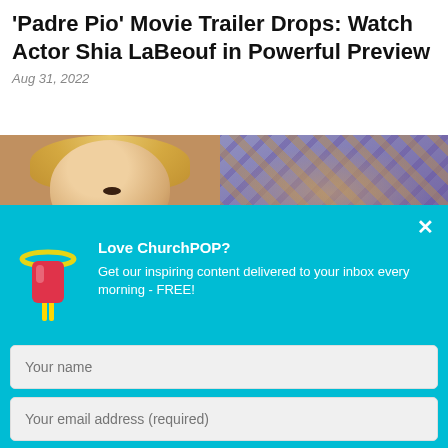Padre Pio Movie Trailer Drops: Watch Actor Shia LaBeouf in Powerful Preview
Aug 31, 2022
[Figure (photo): Two-panel photo strip: left shows a blonde woman's face, right shows hands holding a decorative mosaic object]
[Figure (screenshot): ChurchPOP email signup modal overlay on cyan/turquoise background with popsicle mascot logo, headline 'Love ChurchPOP?', subtext about free daily inspiring content, name input, email input, and yellow Sign me up! button]